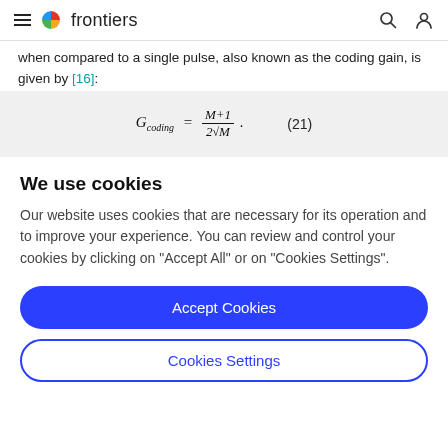frontiers
when compared to a single pulse, also known as the coding gain, is given by [16]:
We use cookies
Our website uses cookies that are necessary for its operation and to improve your experience. You can review and control your cookies by clicking on "Accept All" or on "Cookies Settings".
Accept Cookies
Cookies Settings